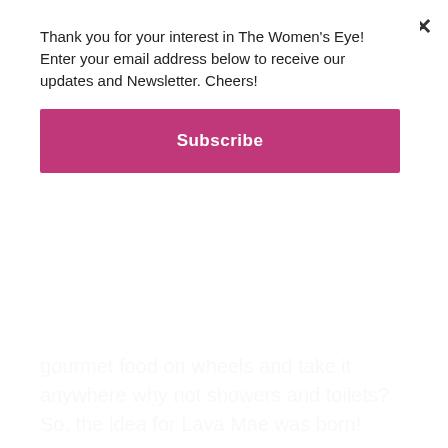Thank you for your interest in The Women's Eye! Enter your email address below to receive our updates and Newsletter. Cheers!
Subscribe
gourmet food on wheels and take it anywhere why not showers and toilets? So, the idea for Lava Mae was born!
EYE: Who was your first call?
DONIECE: I called Jennifer Friedenbach who is with the